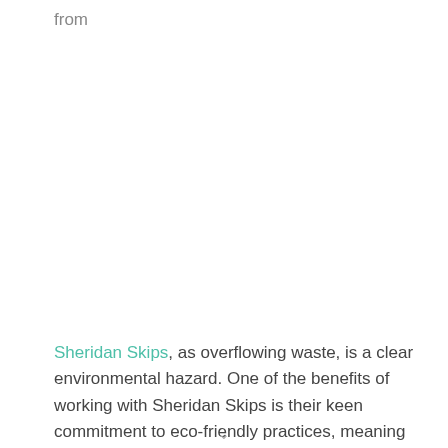from
Sheridan Skips, as overflowing waste, is a clear environmental hazard. One of the benefits of working with Sheridan Skips is their keen commitment to eco-friendly practices, meaning that they can help you find a